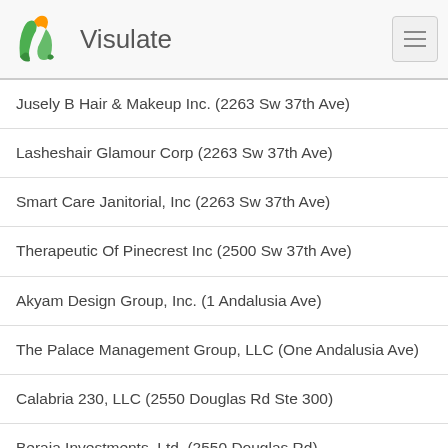Visulate
Jusely B Hair & Makeup Inc. (2263 Sw 37th Ave)
Lasheshair Glamour Corp (2263 Sw 37th Ave)
Smart Care Janitorial, Inc (2263 Sw 37th Ave)
Therapeutic Of Pinecrest Inc (2500 Sw 37th Ave)
Akyam Design Group, Inc. (1 Andalusia Ave)
The Palace Management Group, LLC (One Andalusia Ave)
Calabria 230, LLC (2550 Douglas Rd Ste 300)
Beraja Investments, Ltd. (2550 Douglas Rd)
Beraja Investments Ii, Ltd. (2550 Douglas Rd)
Sidonia 110, LLC (2550 Douglas Rd)